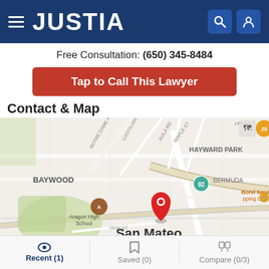JUSTIA
Free Consultation: (650) 345-8484
Tap to Call This Lawyer
Contact & Map
[Figure (map): Apple Maps showing San Mateo area with a red location pin near Borel Square Shopping Center, showing neighborhoods Baywood, Hayward Park, Bermuda, streets including Notre Dame Ave, Castilian Way, Maple St, Avila Rd, Yew St, and avenues 22nd, 23rd, 24th. Aragon High School and route 92 are visible.]
Recent (1)   Saved (0)   Compare (0/3)